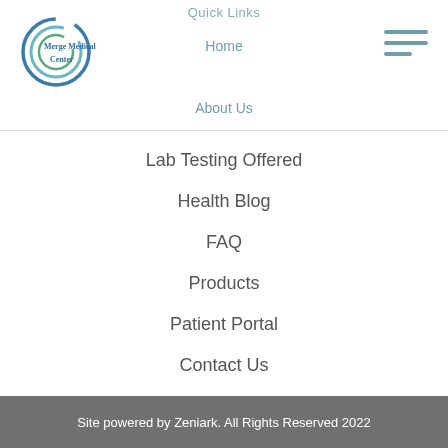[Figure (logo): Merge Medical Center circular logo with blue/green swirl and text]
Quick Links
Home
About Us
Lab Testing Offered
Health Blog
FAQ
Products
Patient Portal
Contact Us
Testimonials
Sitemap
Site powered by Zeniark.  All Rights Reserved 2022